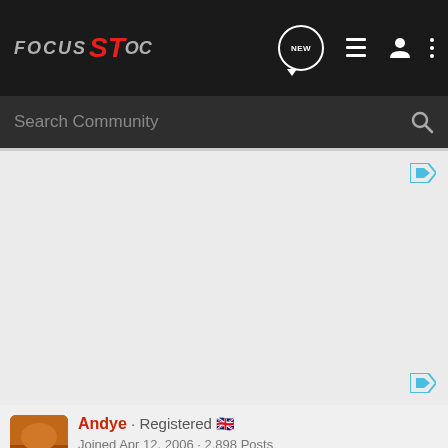Focus ST OC - navigation bar with logo and icons
Search Community
[Figure (screenshot): Advertisement area with play/ad icon in top right corner]
[Figure (screenshot): Second advertisement area with play/ad icon]
Andye · Registered 🇬🇧
Joined Apr 12, 2006 · 2,898 Posts